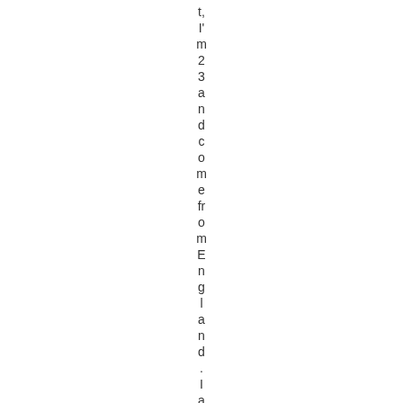t, I'm 23 and come from England. I am t